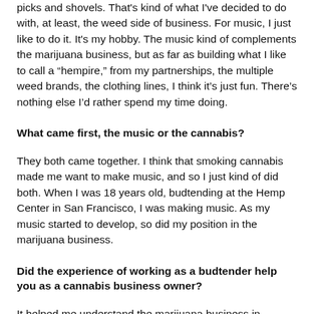picks and shovels. That's kind of what I've decided to do with, at least, the weed side of business. For music, I just like to do it. It's my hobby. The music kind of complements the marijuana business, but as far as building what I like to call a “hempire,” from my partnerships, the multiple weed brands, the clothing lines, I think it's just fun. There’s nothing else I’d rather spend my time doing.
What came first, the music or the cannabis?
They both came together. I think that smoking cannabis made me want to make music, and so I just kind of did both. When I was 18 years old, budtending at the Hemp Center in San Francisco, I was making music. As my music started to develop, so did my position in the marijuana business.
Did the experience of working as a budtender help you as a cannabis business owner?
It helped me understand the marijuana business in general. From